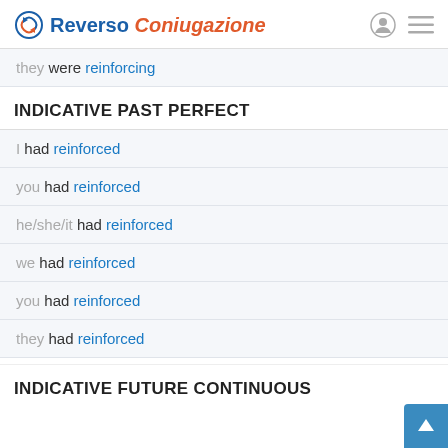Reverso Coniugazione
they were reinforcing
INDICATIVE PAST PERFECT
I had reinforced
you had reinforced
he/she/it had reinforced
we had reinforced
you had reinforced
they had reinforced
INDICATIVE FUTURE CONTINUOUS